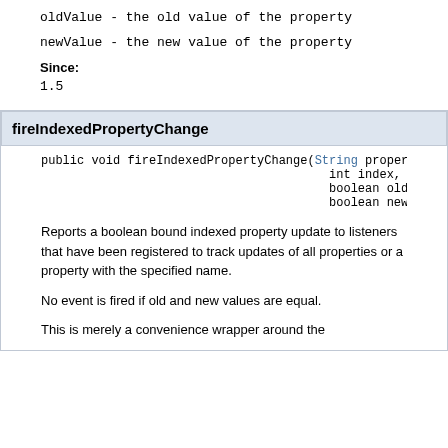oldValue - the old value of the property
newValue - the new value of the property
Since:
1.5
fireIndexedPropertyChange
public void fireIndexedPropertyChange(String propertyName, int index, boolean oldValue, boolean newValue)
Reports a boolean bound indexed property update to listeners that have been registered to track updates of all properties or a property with the specified name.
No event is fired if old and new values are equal.
This is merely a convenience wrapper around the